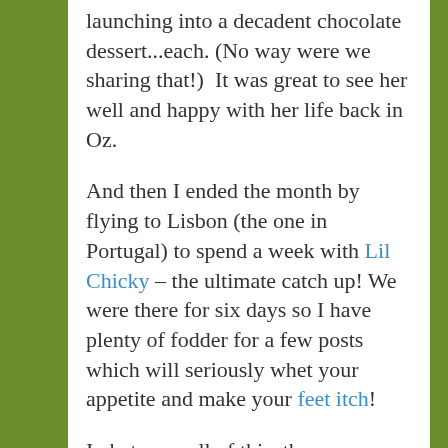delicious Peruvian tapas plates before launching into a decadent chocolate dessert...each. (No way were we sharing that!)  It was great to see her well and happy with her life back in Oz.
And then I ended the month by flying to Lisbon (the one in Portugal) to spend a week with Lil Chicky – the ultimate catch up! We were there for six days so I have plenty of fodder for a few posts which will seriously whet your appetite and make your feet itch!
In between all of this, there was a little reflection on trust, a return to yoga and the I-almost-missed-the-whole-of-2016 discovery of the wonderful Prudential